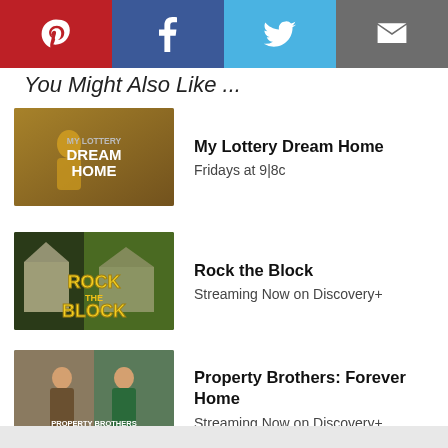[Figure (infographic): Social share bar with Pinterest, Facebook, Twitter, and Email icons]
You Might Also Like ...
[Figure (photo): My Lottery Dream Home show thumbnail with man in gold jacket and text DREAM HOME]
My Lottery Dream Home
Fridays at 9|8c
[Figure (photo): Rock the Block show thumbnail with contestants and yellow graffiti-style text ROCK THE BLOCK]
Rock the Block
Streaming Now on Discovery+
[Figure (photo): Property Brothers: Forever Home thumbnail with two men and text PROPERTY BROTHERS FOREVER HOME]
Property Brothers: Forever Home
Streaming Now on Discovery+